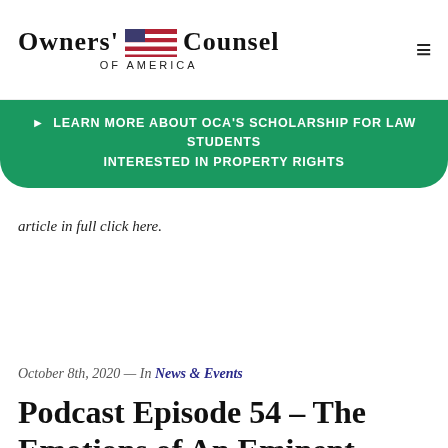Owners' Counsel of America
► LEARN MORE ABOUT OCA'S SCHOLARSHIP FOR LAW STUDENTS INTERESTED IN PROPERTY RIGHTS
article in full click here.
Read More ▶
October 8th, 2020 — In News & Events
Podcast Episode 54 – The Emotions of An Eminent Domain Case with Stephen